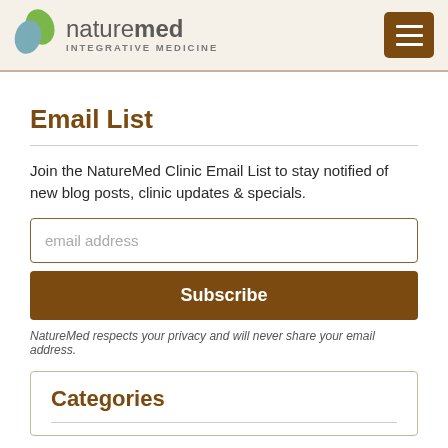naturemed INTEGRATIVE MEDICINE
Email List
Join the NatureMed Clinic Email List to stay notified of new blog posts, clinic updates & specials.
email address
Subscribe
NatureMed respects your privacy and will never share your email address.
Categories